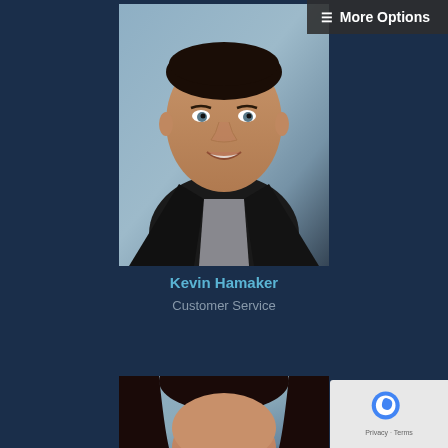☰ More Options
[Figure (photo): Professional headshot of Kevin Hamaker, a man in a dark blazer and patterned collared shirt, smiling, with a blue-grey background]
Kevin Hamaker
Customer Service
[Figure (photo): Professional headshot of a woman with long dark hair, partially visible from top of frame, with a blue-grey background]
[Figure (other): Google reCAPTCHA badge in bottom right corner with partial Privacy Terms text]